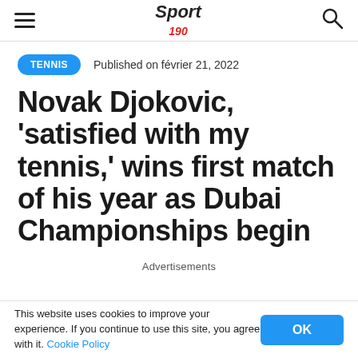Sport 190 — TENNIS | Published on février 21, 2022
TENNIS   Published on février 21, 2022
Novak Djokovic, 'satisfied with my tennis,' wins first match of his year as Dubai Championships begin
Advertisements
This website uses cookies to improve your experience. If you continue to use this site, you agree with it. Cookie Policy   OK